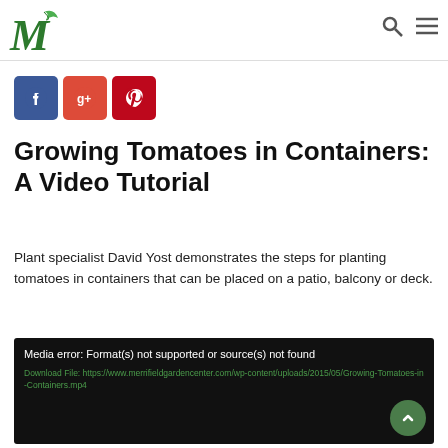[Figure (logo): Green M logo with leaf for Merrifield Garden Center]
[Figure (illustration): Search icon and hamburger menu icon in header]
[Figure (illustration): Social share icons: Facebook, Google+, Pinterest]
Growing Tomatoes in Containers: A Video Tutorial
Plant specialist David Yost demonstrates the steps for planting tomatoes in containers that can be placed on a patio, balcony or deck.
[Figure (screenshot): Video player showing media error: Format(s) not supported or source(s) not found. Download File link to Growing-Tomatoes-in-Containers.mp4]